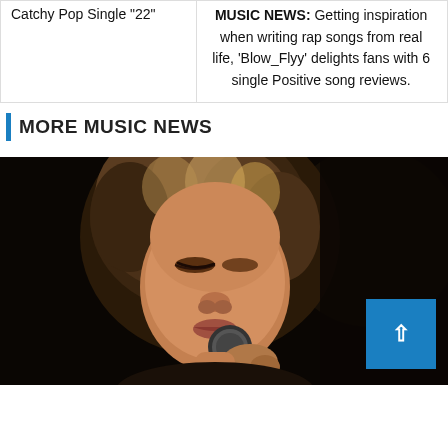Catchy Pop Single "22"
MUSIC NEWS: Getting inspiration when writing rap songs from real life, 'Blow_Flyy' delights fans with 6 single Positive song reviews.
MORE MUSIC NEWS
[Figure (photo): A woman with curly hair singing into a microphone on a dark background]